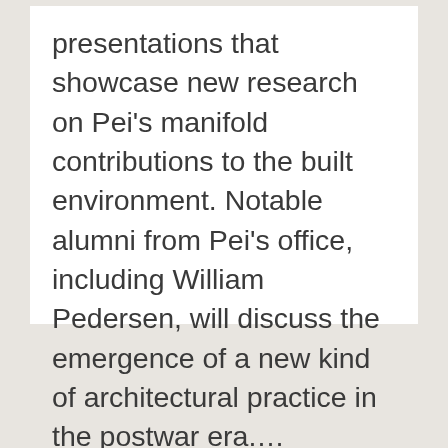presentations that showcase new research on Pei's manifold contributions to the built environment. Notable alumni from Pei's office, including William Pedersen, will discuss the emergence of a new kind of architectural practice in the postwar era.…